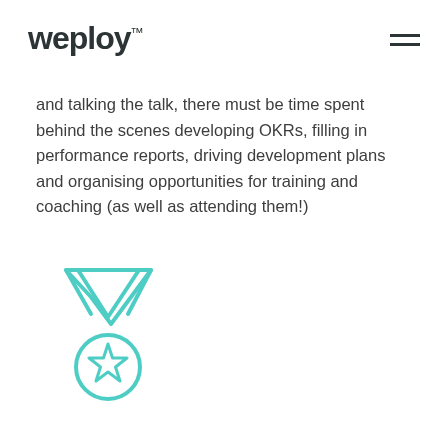weploy™
and talking the talk, there must be time spent behind the scenes developing OKRs, filling in performance reports, driving development plans and organising opportunities for training and coaching (as well as attending them!)
[Figure (illustration): Teal/turquoise medal icon with a V-shaped ribbon and a circle with a star in the center]
Clear reminders of the company missions, values and overall goals has come up time and again as an